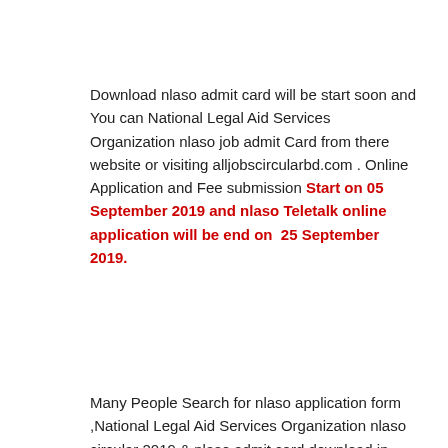Download nlaso admit card will be start soon and You can National Legal Aid Services Organization nlaso job admit Card from there website or visiting alljobscircularbd.com . Online Application and Fee submission Start on 05 September 2019 and nlaso Teletalk online application will be end on 25 September 2019.
Many People Search for nlaso application form ,National Legal Aid Services Organization nlaso circular 2019 & nlaso admit card download in google. Now National Legal Aid